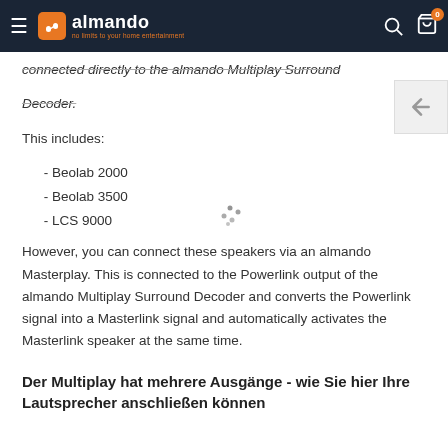almando - no limits to your home entertainment
connected directly to the almando Multiplay Surround Decoder.
This includes:
- Beolab 2000
- Beolab 3500
- LCS 9000
However, you can connect these speakers via an almando Masterplay. This is connected to the Powerlink output of the almando Multiplay Surround Decoder and converts the Powerlink signal into a Masterlink signal and automatically activates the Masterlink speaker at the same time.
Der Multiplay hat mehrere Ausgänge - wie Sie hier Ihre Lautsprecher anschließen können